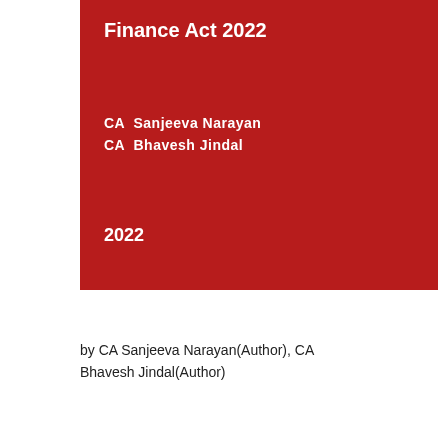Finance Act 2022
CA  Sanjeeva Narayan
CA  Bhavesh Jindal
2022
by CA Sanjeeva Narayan(Author), CA Bhavesh Jindal(Author)